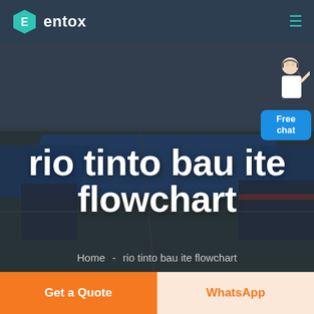entox
[Figure (photo): Aerial view of an industrial facility with large blue warehouse roofs, used as hero background image]
rio tinto bau ite flowchart
Home  -  rio tinto bau ite flowchart
[Figure (illustration): Free chat widget with a person illustration and blue button labeled 'Free chat']
Get a Quote
WhatsApp